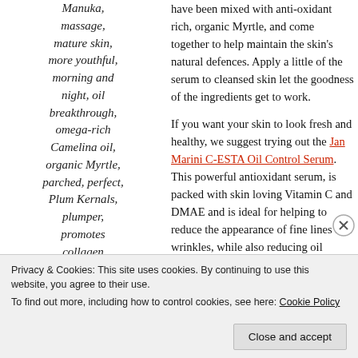Manuka, massage, mature skin, more youthful, morning and night, oil breakthrough, omega-rich Camelina oil, organic Myrtle, parched, perfect, Plum Kernals, plumper, promotes collagen production
have been mixed with anti-oxidant rich, organic Myrtle, and come together to help maintain the skin's natural defences. Apply a little of the serum to cleansed skin let the goodness of the ingredients get to work.
If you want your skin to look fresh and healthy, we suggest trying out the Jan Marini C-ESTA Oil Control Serum. This powerful antioxidant serum, is packed with skin loving Vitamin C and DMAE and is ideal for helping to reduce the appearance of fine lines and wrinkles, while also reducing oil breakthrough. Continued use, morning and night, will make your skin look more toned as lines are smoothed and you will
Privacy & Cookies: This site uses cookies. By continuing to use this website, you agree to their use. To find out more, including how to control cookies, see here: Cookie Policy
Close and accept